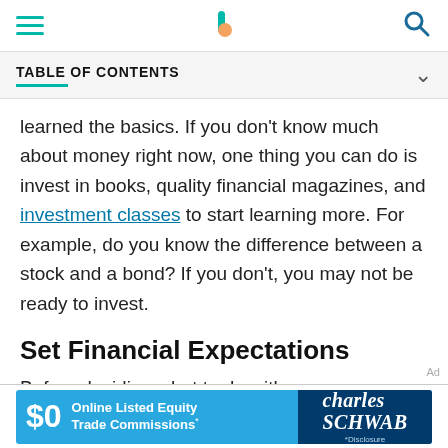[hamburger menu] [Investopedia logo] [search icon]
TABLE OF CONTENTS
learned the basics. If you don't know much about money right now, one thing you can do is invest in books, quality financial magazines, and investment classes to start learning more. For example, do you know the difference between a stock and a bond? If you don't, you may not be ready to invest.
Set Financial Expectations
Before deciding what to do with your money, check out historical rates of returns for savings accounts, stocks, and bonds. It will give you an idea of what you might
[Figure (other): Charles Schwab advertisement banner: $0 Online Listed Equity Trade Commissions* | *Disclosure]